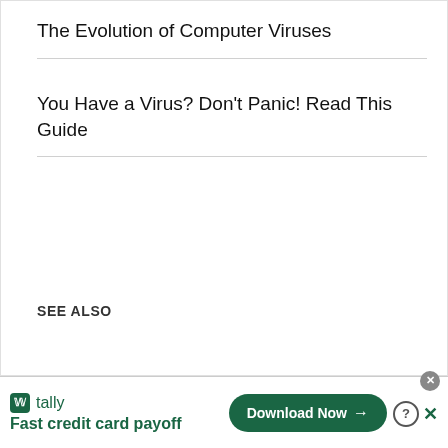The Evolution of Computer Viruses
You Have a Virus? Don't Panic! Read This Guide
SEE ALSO
[Figure (infographic): Advertisement banner for Tally app — 'Fast credit card payoff' with a Download Now button and close/help icons]